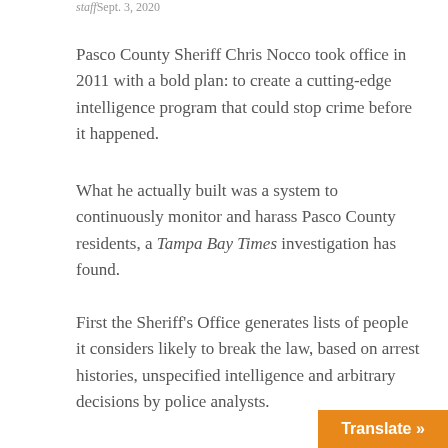staffSept. 3, 2020
Pasco County Sheriff Chris Nocco took office in 2011 with a bold plan: to create a cutting-edge intelligence program that could stop crime before it happened.
What he actually built was a system to continuously monitor and harass Pasco County residents, a Tampa Bay Times investigation has found.
First the Sheriff's Office generates lists of people it considers likely to break the law, based on arrest histories, unspecified intelligence and arbitrary decisions by police analysts.